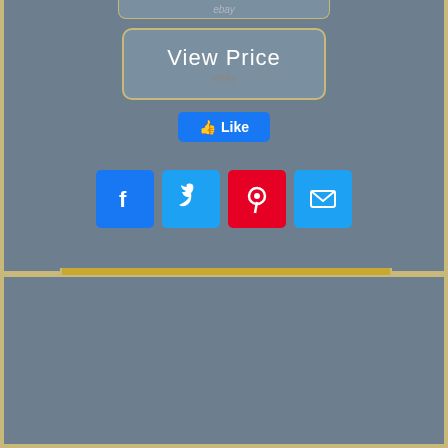[Figure (screenshot): eBay label bar at top of panel]
[Figure (screenshot): View Price button with eBay label]
[Figure (screenshot): Facebook Like button]
[Figure (screenshot): Social sharing icons: Facebook, Twitter, Pinterest, Email]
[Figure (screenshot): Product image strip (gold jewelry)]
[Figure (screenshot): Search bar with Search button]
metal white chain eyeglasses black necklace plate jewelry swiss leather rose men's belt silver engagement invicta ring plated